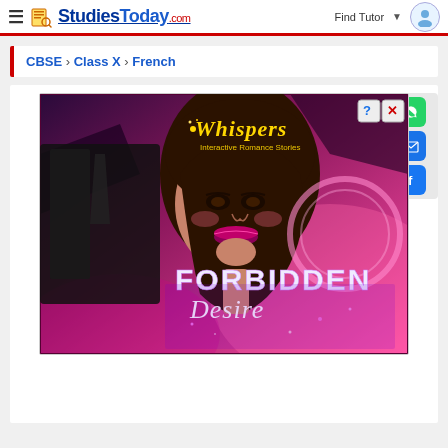StudiesToday.com — Find Tutor
CBSE > Class X > French
[Figure (illustration): Advertisement banner for 'Whispers Interactive Romance Stories' featuring 'FORBIDDEN Desire' with a stylized animated character of a brunette woman in purple and pink neon lighting. A close button (X) and help button (?) appear in the top-right corner of the ad.]
[Figure (infographic): Social sharing sidebar with WhatsApp (green), Email (blue), and Facebook (blue) icon buttons stacked vertically on the right side.]